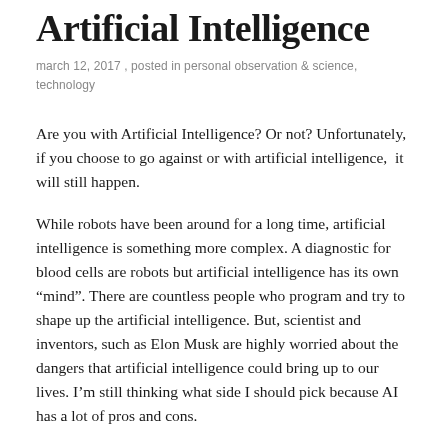Artificial Intelligence
march 12, 2017 , posted in personal observation & science, technology
Are you with Artificial Intelligence? Or not? Unfortunately, if you choose to go against or with artificial intelligence,  it will still happen.
While robots have been around for a long time, artificial intelligence is something more complex. A diagnostic for blood cells are robots but artificial intelligence has its own “mind”. There are countless people who program and try to shape up the artificial intelligence. But, scientist and inventors, such as Elon Musk are highly worried about the dangers that artificial intelligence could bring up to our lives. I’m still thinking what side I should pick because AI has a lot of pros and cons.